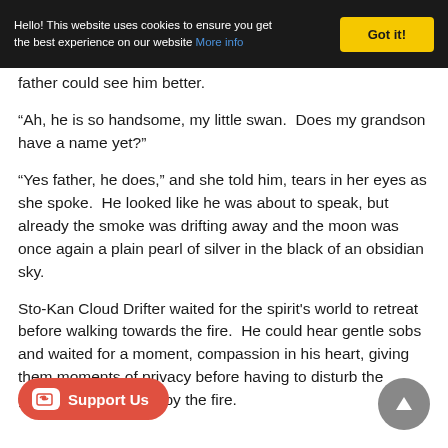Hello! This website uses cookies to ensure you get the best experience on our website More info  [Got it!]
father could see him better.
“Ah, he is so handsome, my little swan.  Does my grandson have a name yet?”
“Yes father, he does,” and she told him, tears in her eyes as she spoke.  He looked like he was about to speak, but already the smoke was drifting away and the moon was once again a plain pearl of silver in the black of an obsidian sky.
Sto-Kan Cloud Drifter waited for the spirit's world to retreat before walking towards the fire.  He could hear gentle sobs and waited for a moment, compassion in his heart, giving them moments of privacy before having to disturb the grieving figure sitting by the fire.